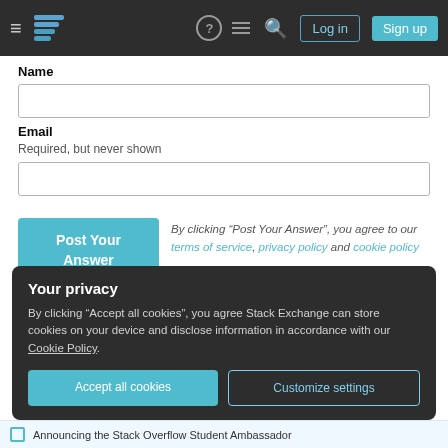Stack Exchange navigation header with hamburger menu, logo, icons, Log in and Sign up buttons
Name
Email
Required, but never shown
By clicking “Post Your Answer”, you agree to our terms of service, privacy policy and cookie policy
Your privacy
By clicking “Accept all cookies”, you agree Stack Exchange can store cookies on your device and disclose information in accordance with our Cookie Policy.
Accept all cookies   Customize settings
Announcing the Stack Overflow Student Ambassador